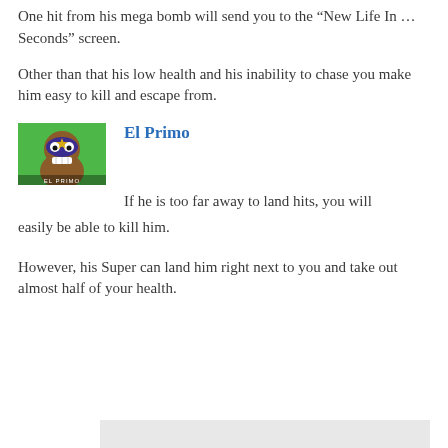One hit from his mega bomb will send you to the “New Life In … Seconds” screen.
Other than that his low health and his inability to chase you make him easy to kill and escape from.
El Primo
If he is too far away to land hits, you will easily be able to kill him.
However, his Super can land him right next to you and take out almost half of your health.